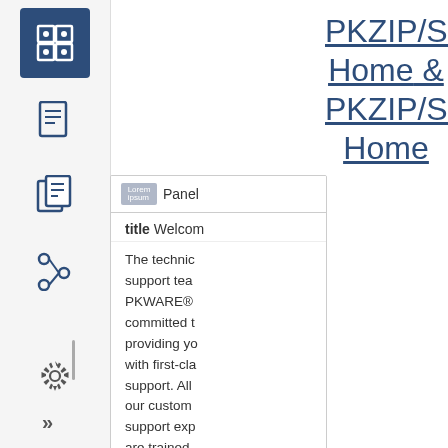[Figure (screenshot): Left navigation sidebar with icons: active icon (grid/dashboard), document icon, copy icon, tree/hierarchy icon, gear/settings icon, chevron/more icon. A panel overlay partially visible showing 'Panel' header and text beginning with 'title Welcom...' and body text 'The technic support tea PKWARE® committed t providing yo with first-cla support. All our custom support exp are trained provide tim accurate, valuable an professiona service to h']
PKZIP/SecureZIP Home & PKZIP/SecureZIP Home
|  | IBM z/OS | IBM i |
| --- | --- | --- |
|  |  |  |
| PKZIP / SecureZIP | PKZIP / SecureZIP for z/OS | PKZIP / SecureZIP for |
| ZIP Reader |  |  |
| ZIP |  |  |